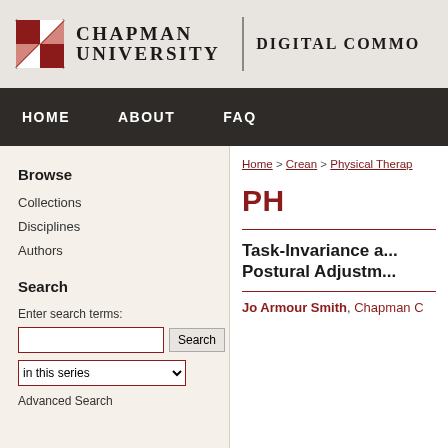Chapman University | Digital Commons
HOME   ABOUT   FAQ
Home > Crean > Physical Thera...
PH...
Browse
Collections
Disciplines
Authors
Search
Enter search terms:
in this series
Advanced Search
Task-Invariance a... Postural Adjustm...
Jo Armour Smith, Chapman C...